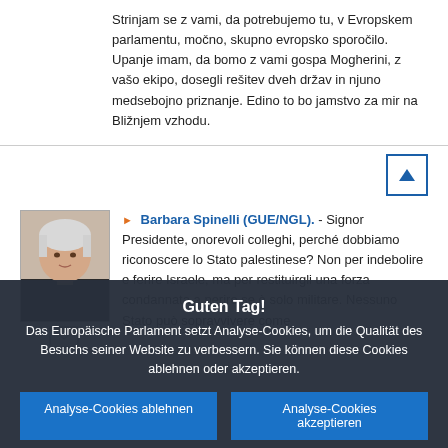Strinjam se z vami, da potrebujemo tu, v Evropskem parlamentu, močno, skupno evropsko sporočilo. Upanje imam, da bomo z vami gospa Mogherini, z vašo ekipo, dosegli rešitev dveh držav in njuno medsebojno priznanje. Edino to bo jamstvo za mir na Bližnjem vzhodu.
[Figure (photo): Portrait photo of Barbara Spinelli, female speaker with short grey/white hair]
Barbara Spinelli (GUE/NGL). - Signor Presidente, onorevoli colleghi, perché dobbiamo riconoscere lo Stato palestinese? Non per indebolire e ferire Israele, ma per restituirgli una forza condannata a perire se è solo militare. Nessuno Stato può sopravvivere come
Guten Tag!
Das Europäische Parlament setzt Analyse-Cookies, um die Qualität des Besuchs seiner Website zu verbessern. Sie können diese Cookies ablehnen oder akzeptieren.
Analyse-Cookies ablehnen
Analyse-Cookies akzeptieren
Weitere Informationen über die anderen Cookies und die Serverprotokolle, die vom Europäischen Parlament verwendet werden, finden Sie unter Schutz personenbezogener Daten , Cookies und Datenschutz und im Cookie-Verzeichnis.